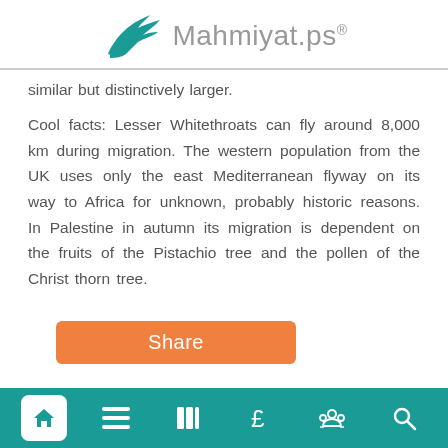Mahmiyat.ps®
similar but distinctively larger.
Cool facts: Lesser Whitethroats can fly around 8,000 km during migration. The western population from the UK uses only the east Mediterranean flyway on its way to Africa for unknown, probably historic reasons. In Palestine in autumn its migration is dependent on the fruits of the Pistachio tree and the pollen of the Christ thorn tree.
Share [navigation bar with home, menu, columns, currency, settings, search icons]